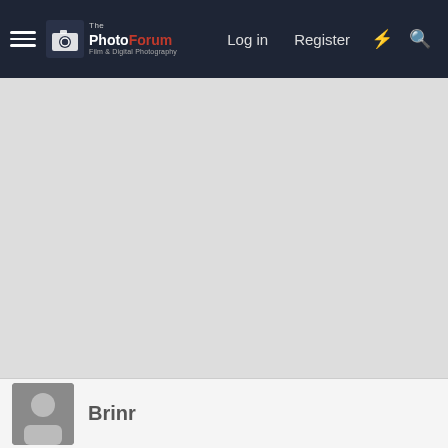ThePhotoForum — Film & Digital Photography | Log in  Register
[Figure (screenshot): Large grey content area, appears to be an advertisement or empty content block]
Brinr